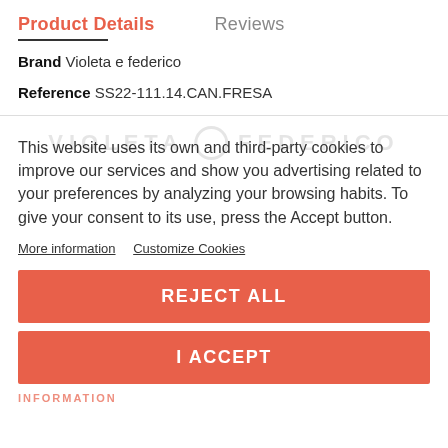Product Details   Reviews
Brand Violeta e federico
Reference SS22-111.14.CAN.FRESA
This website uses its own and third-party cookies to improve our services and show you advertising related to your preferences by analyzing your browsing habits. To give your consent to its use, press the Accept button.
More information   Customize Cookies
REJECT ALL
I ACCEPT
INFORMATION